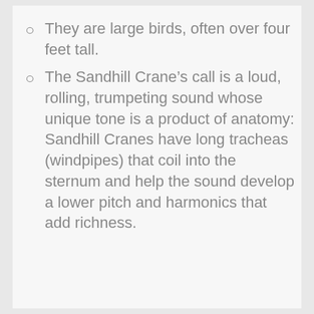They are large birds, often over four feet tall.
The Sandhill Crane’s call is a loud, rolling, trumpeting sound whose unique tone is a product of anatomy: Sandhill Cranes have long tracheas (windpipes) that coil into the sternum and help the sound develop a lower pitch and harmonics that add richness.